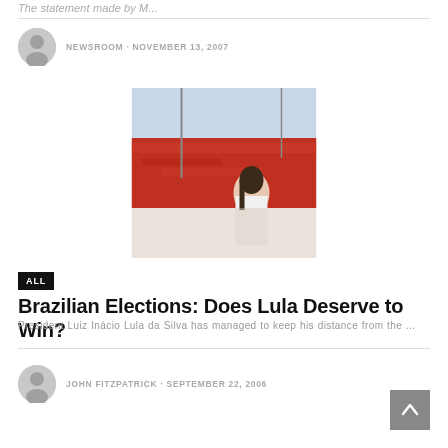The statement made by M...
NEWSROOM · NOVEMBER 13, 2007
[Figure (photo): Crowd scene with red flags and a person in the foreground, appears to be a political rally in Brazil]
ALL
Brazilian Elections: Does Lula Deserve to Win?
President Luiz Inácio Lula da Silva has managed to keep his distance from the ...
JOHN FITZPATRICK · SEPTEMBER 22, 2006